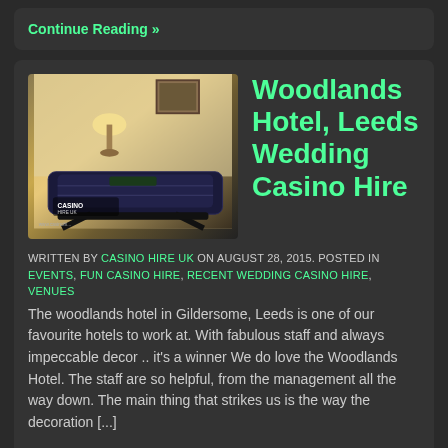Continue Reading »
Woodlands Hotel, Leeds Wedding Casino Hire
WRITTEN BY CASINO HIRE UK ON AUGUST 28, 2015. POSTED IN EVENTS, FUN CASINO HIRE, RECENT WEDDING CASINO HIRE, VENUES
The woodlands hotel in Gildersome, Leeds is one of our favourite hotels to work at. With fabulous staff and always impeccable decor .. it's a winner We do love the Woodlands Hotel. The staff are so helpful, from the management all the way down. The main thing that strikes us is the way the decoration [...]
Continue Reading »
[Figure (photo): Casino roulette table in a hotel room setting with warm lighting]